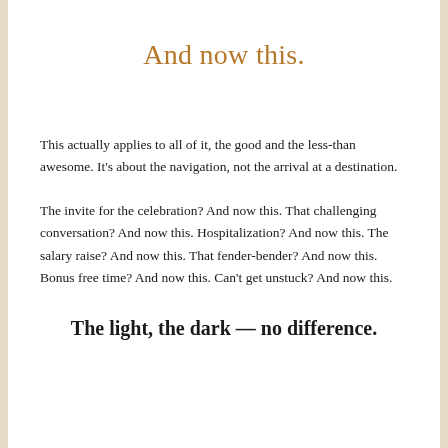And now this.
This actually applies to all of it, the good and the less-than awesome. It’s about the navigation, not the arrival at a destination.
The invite for the celebration? And now this. That challenging conversation? And now this. Hospitalization? And now this. The salary raise? And now this. That fender-bender? And now this. Bonus free time? And now this. Can’t get unstuck? And now this.
The light, the dark — no difference.